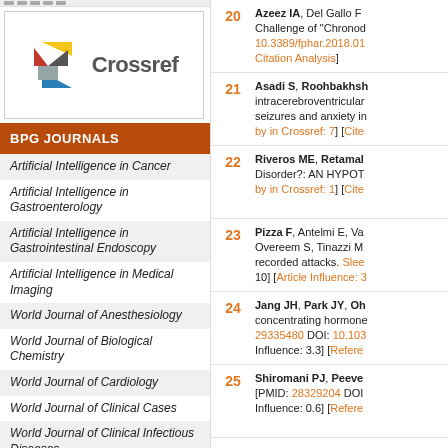[Figure (logo): Crossref logo with colored geometric shapes and 'Crossref' text]
BPG JOURNALS
Artificial Intelligence in Cancer
Artificial Intelligence in Gastroenterology
Artificial Intelligence in Gastrointestinal Endoscopy
Artificial Intelligence in Medical Imaging
World Journal of Anesthesiology
World Journal of Biological Chemistry
World Journal of Cardiology
World Journal of Clinical Cases
World Journal of Clinical Infectious Diseases
World Journal of Clinical Oncology
World Journal of Clinical Pediatrics
20 Azeez IA, Del Gallo F. Challenge of "Chrono... 10.3389/fphar.2018.01... Citation Analysis]
21 Asadi S, Roohbakhsh... intracerebroventricular... seizures and anxiety i... by in Crossref: 7] [Cite...
22 Riveros ME, Retamal... Disorder?: AN HYPOT... by in Crossref: 1] [Cite...
23 Pizza F, Antelmi E, Va... Overeem S, Tinazzi M... recorded attacks. Slee... 10] [Article Influence: 3...
24 Jang JH, Park JY, Oh... concentrating hormone... 29335480 DOI: 10.103... Influence: 3.3] [Refere...
25 Shiromani PJ, Peeve... [PMID: 28329204 DOI... Influence: 0.6] [Refere...